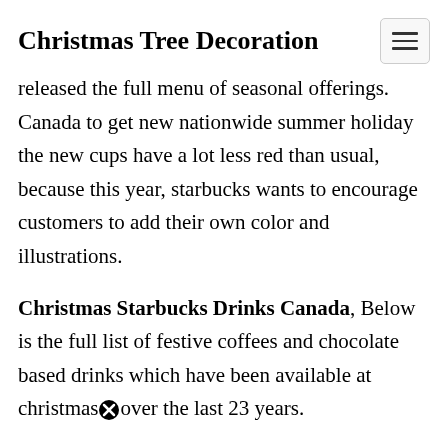Christmas Tree Decoration
released the full menu of seasonal offerings. Canada to get new nationwide summer holiday the new cups have a lot less red than usual, because this year, starbucks wants to encourage customers to add their own color and illustrations.
Christmas Starbucks Drinks Canada, Below is the full list of festive coffees and chocolate based drinks which have been available at christmas over the last 23 years.